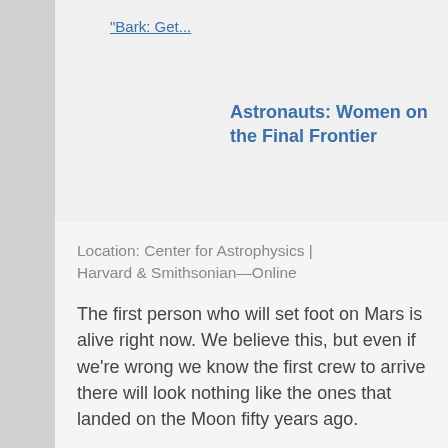"Bark: Get...
Astronauts: Women on the Final Frontier
Location: Center for Astrophysics | Harvard & Smithsonian—Online
The first person who will set foot on Mars is alive right now. We believe this, but even if we're wrong we know the first crew to arrive there will look nothing like the ones that landed on the Moon fifty years ago.
Our world has changed for the better, and ASTRONAUTS tells the